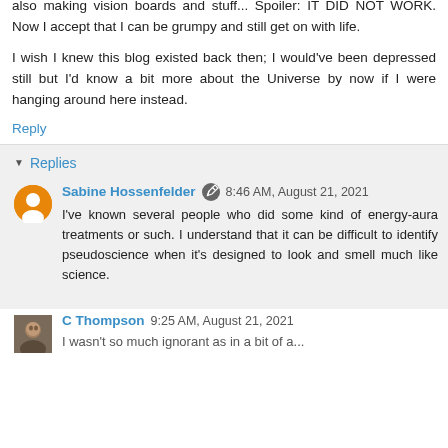also making vision boards and stuff... Spoiler: IT DID NOT WORK. Now I accept that I can be grumpy and still get on with life.
I wish I knew this blog existed back then; I would've been depressed still but I'd know a bit more about the Universe by now if I were hanging around here instead.
Reply
Replies
Sabine Hossenfelder 8:46 AM, August 21, 2021
I've known several people who did some kind of energy-aura treatments or such. I understand that it can be difficult to identify pseudoscience when it's designed to look and smell much like science.
C Thompson 9:25 AM, August 21, 2021
I wasn't so much ignorant as in a bit of a...